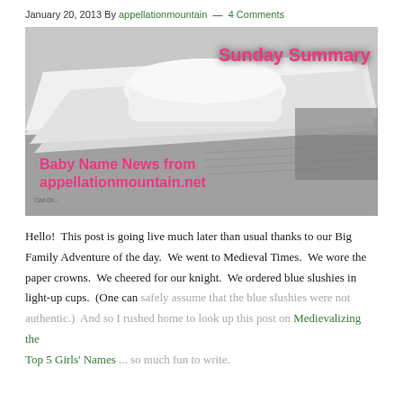January 20, 2013 By appellationmountain — 4 Comments
[Figure (photo): Black and white photo of stacked newspapers with pink bold text overlay reading 'Sunday Summary' at top right and 'Baby Name News from appellationmountain.net' at bottom left]
Hello!  This post is going live much later than usual thanks to our Big Family Adventure of the day.  We went to Medieval Times.  We wore the paper crowns.  We cheered for our knight.  We ordered blue slushies in light-up cups.  (One can safely assume that the blue slushies were not authentic.)  And so I rushed home to look up this post on Medievalizing the Top 5 Girls' Names ... so much fun to write.